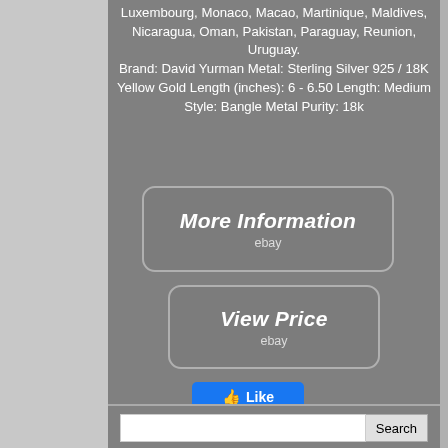Luxembourg, Monaco, Macao, Martinique, Maldives, Nicaragua, Oman, Pakistan, Paraguay, Reunion, Uruguay. Brand: David Yurman Metal: Sterling Silver 925 / 18K Yellow Gold Length (inches): 6 - 6.50 Length: Medium Style: Bangle Metal Purity: 18k
[Figure (screenshot): More Information button with ebay logo]
[Figure (screenshot): View Price button with ebay logo]
[Figure (screenshot): Facebook Like button]
[Figure (screenshot): Social share icons: Facebook, Twitter, Pinterest, Email]
[Figure (photo): Sterling silver chain bracelet strip]
Search